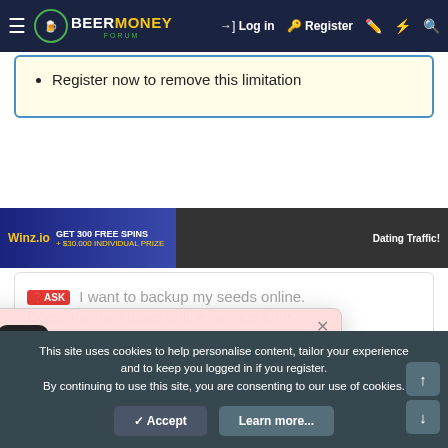Beer Money Forum — Log in | Register
Register now to remove this limitation
[Figure (screenshot): Advertisement banner: Winz.io GET 300 FREE SPINS and Dating Traffic ads]
I want to backup my seeds online. Does anyone knows online service for it?
Post thread | dark_Darker_dark · May 20, 2022 · defi | seed | wallet
[Figure (screenshot): Beer Money Forum popup with BMF logo, YouTube 38K subscribe button, Welcome visitor! message, BMF is the biggest make money forum. Join us today and start earning more cash!]
This site uses cookies to help personalise content, tailor your experience and to keep you logged in if you register. By continuing to use this site, you are consenting to our use of cookies.